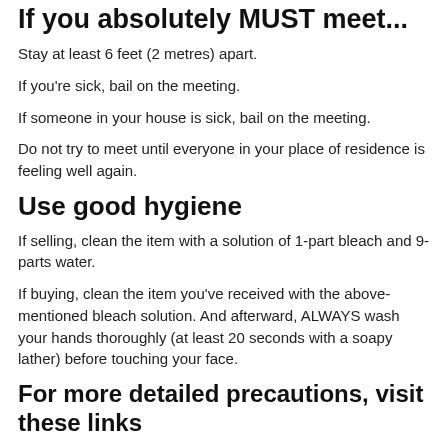If you absolutely MUST meet...
Stay at least 6 feet (2 metres) apart.
If you're sick, bail on the meeting.
If someone in your house is sick, bail on the meeting.
Do not try to meet until everyone in your place of residence is feeling well again.
Use good hygiene
If selling, clean the item with a solution of 1-part bleach and 9-parts water.
If buying, clean the item you've received with the above-mentioned bleach solution. And afterward, ALWAYS wash your hands thoroughly (at least 20 seconds with a soapy lather) before touching your face.
For more detailed precautions, visit these links
Health Canada